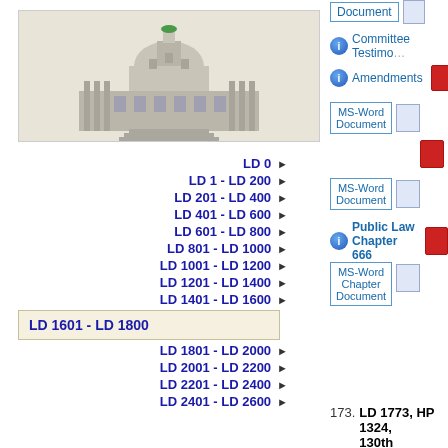[Figure (illustration): Maine State Capitol building illustration in grayscale on beige background]
LD 0 ▶
LD 1 - LD 200 ▶
LD 201 - LD 400 ▶
LD 401 - LD 600 ▶
LD 601 - LD 800 ▶
LD 801 - LD 1000 ▶
LD 1001 - LD 1200 ▶
LD 1201 - LD 1400 ▶
LD 1401 - LD 1600 ▶
LD 1601 - LD 1800 (active)
LD 1801 - LD 2000 ▶
LD 2001 - LD 2200 ▶
LD 2201 - LD 2400 ▶
LD 2401 - LD 2600 ▶
Document
Committee Testimony
Amendments
MS-Word Document
MS-Word Document
Public Law Chapter 666
MS-Word Chapter Document
173. LD 1773, HP 1324, 130th Legislature